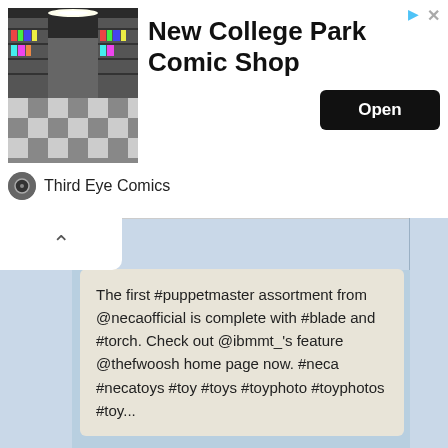[Figure (screenshot): Advertisement banner for New College Park Comic Shop by Third Eye Comics, showing a store interior photo, bold title text, an Open button, and advertiser logo.]
[Figure (screenshot): Social media interface showing a scrollable feed with light blue background, collapse arrow button, sidebar stripes, and a post text box.]
The first #puppetmaster assortment from @necaofficial is complete with #blade and #torch. Check out @ibmmt_'s feature @thefwoosh home page now. #neca #necatoys #toy #toys #toyphoto #toyphotos #toy...